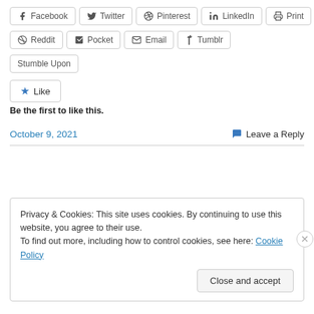Facebook Twitter Pinterest LinkedIn Print
Reddit Pocket Email Tumblr
Stumble Upon
Like
Be the first to like this.
October 9, 2021
Leave a Reply
Privacy & Cookies: This site uses cookies. By continuing to use this website, you agree to their use.
To find out more, including how to control cookies, see here: Cookie Policy
Close and accept